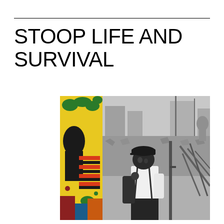STOOP LIFE AND SURVIVAL
[Figure (photo): Composite image: left side shows a colorful painted artwork with figures in red/orange stripes, green foliage on yellow background; right side shows a black-and-white photograph of a young Black boy wearing a cap and suspenders, standing thoughtfully with hand near mouth, in front of a rubble-strewn urban lot with wooden fence debris.]